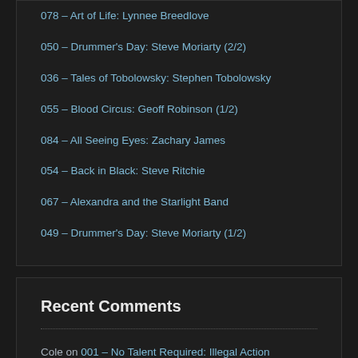078 – Art of Life: Lynnee Breedlove
050 – Drummer's Day: Steve Moriarty (2/2)
036 – Tales of Tobolowsky: Stephen Tobolowsky
055 – Blood Circus: Geoff Robinson (1/2)
084 – All Seeing Eyes: Zachary James
054 – Back in Black: Steve Ritchie
067 – Alexandra and the Starlight Band
049 – Drummer's Day: Steve Moriarty (1/2)
Recent Comments
Cole on 001 – No Talent Required: Illegal Action
Cole on 001 – No Talent Required: Illegal Action
Two Dogs Shined... on 022 – An Interesting Life: Jason Everman